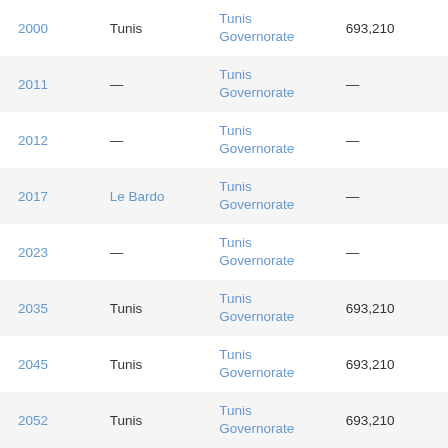| Year | City | Governorate | Population |
| --- | --- | --- | --- |
| 2000 | Tunis | Tunis Governorate | 693,210 |
| 2011 | — | Tunis Governorate | — |
| 2012 | — | Tunis Governorate | — |
| 2017 | Le Bardo | Tunis Governorate | — |
| 2023 | — | Tunis Governorate | — |
| 2035 | Tunis | Tunis Governorate | 693,210 |
| 2045 | Tunis | Tunis Governorate | 693,210 |
| 2052 | Tunis | Tunis Governorate | 693,210 |